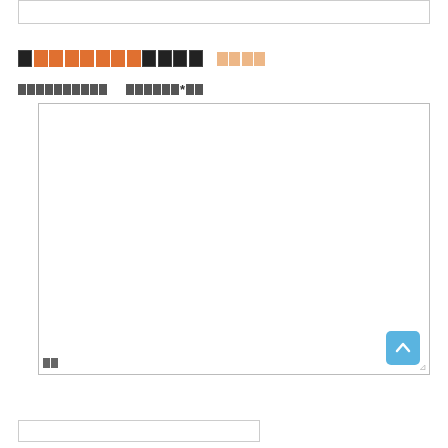[Figure (screenshot): Top portion of a web form UI showing a bordered input box at the top of the page]
██████████████   ████
██████████ ██████*██
[Figure (screenshot): Large textarea input box with a blue up-arrow button in the bottom-right corner and a resize handle]
[Figure (screenshot): Partial view of another input box at the bottom of the page]